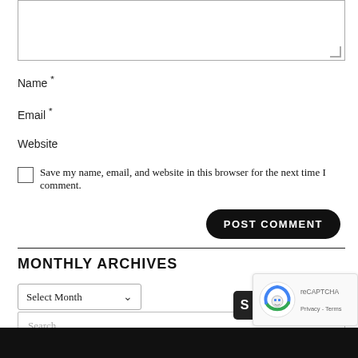[textarea field]
Name *
Email *
Website
Save my name, email, and website in this browser for the next time I comment.
POST COMMENT
MONTHLY ARCHIVES
Select Month
Search ...
[Figure (screenshot): reCAPTCHA badge with robot icon and Privacy - Terms text]